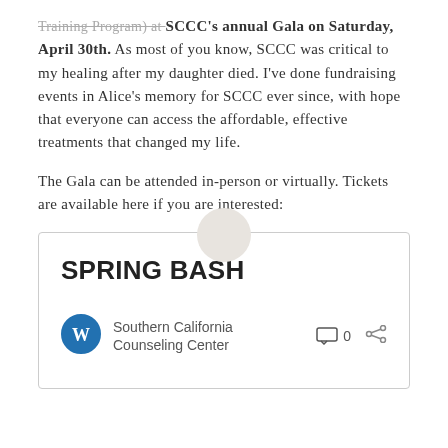Training Program) at SCCC's annual Gala on Saturday, April 30th. As most of you know, SCCC was critical to my healing after my daughter died. I've done fundraising events in Alice's memory for SCCC ever since, with hope that everyone can access the affordable, effective treatments that changed my life.

The Gala can be attended in-person or virtually. Tickets are available here if you are interested:
[Figure (other): Circular avatar/user icon placeholder in light beige/gray color, overlapping the card below]
[Figure (screenshot): Embedded card with title SPRING BASH, WordPress logo icon, organization name Southern California Counseling Center, comment count 0, and share icon]